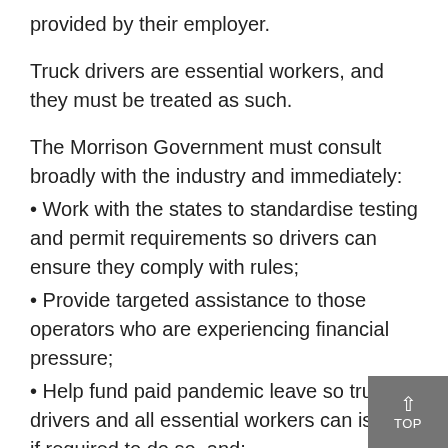provided by their employer.
Truck drivers are essential workers, and they must be treated as such.
The Morrison Government must consult broadly with the industry and immediately:
• Work with the states to standardise testing and permit requirements so drivers can ensure they comply with rules;
• Provide targeted assistance to those operators who are experiencing financial pressure;
• Help fund paid pandemic leave so truck drivers and all essential workers can isolate if required to do so, and;
• Ensure that individual truck drivers do not bear